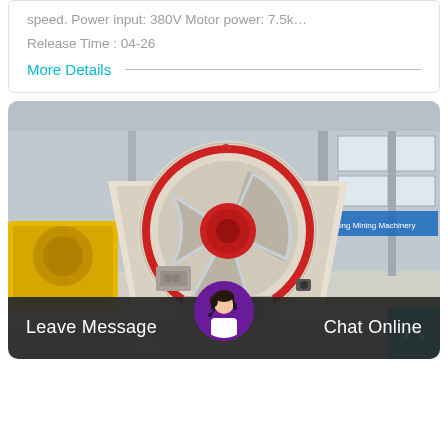speed. Power input: 380V Motor power: 7.5k…
Release Time : 04-26
More Details
[Figure (photo): Industrial jaw crusher machine photographed in a factory warehouse. The machine is large, cream/white colored with red circular accent on the flywheel, displayed on a factory floor. Background shows heavy industrial equipment and a banner reading 'Jiaodong Mining Machinery'.]
Leave Message
Chat Online